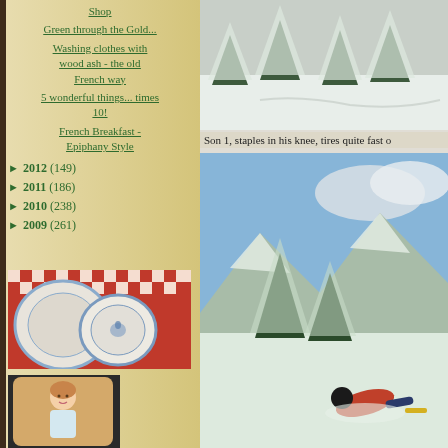Shop
Green through the Gold...
Washing clothes with wood ash - the old French way
5 wonderful things... times 10!
French Breakfast - Epiphany Style
► 2012 (149)
► 2011 (186)
► 2010 (238)
► 2009 (261)
[Figure (photo): Blue and white china plates on a red and white checkered cloth]
[Figure (photo): Ceramic or porcelain item with a painted child figure]
[Figure (photo): Snow-covered pine trees in a winter mountain landscape, top image]
Son 1, staples in his knee, tires quite fast o
[Figure (photo): Snow-covered alpine landscape with mountains and a person lying in deep snow]